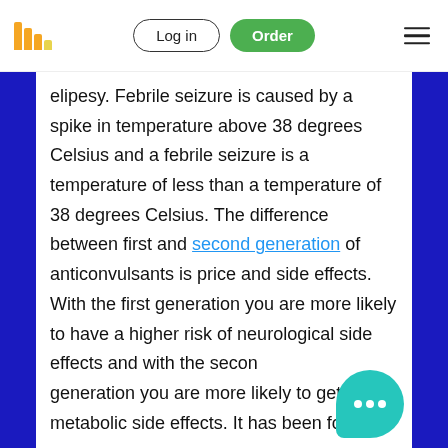Log in | Order
elipesy. Febrile seizure is caused by a spike in temperature above 38 degrees Celsius and a febrile seizure is a temperature of less than a temperature of 38 degrees Celsius. The difference between first and second generation of anticonvulsants is price and side effects. With the first generation you are more likely to have a higher risk of neurological side effects and with the second generation you are more likely to get metabolic side effects. It has been found